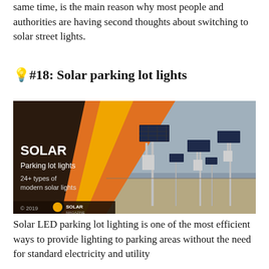same time, is the main reason why most people and authorities are having second thoughts about switching to solar street lights.
💡#18: Solar parking lot lights
[Figure (photo): Solar parking lot lights image with dark brown and orange diagonal graphic on left side. Text reads: SOLAR / Parking lot lights / 24+ types of modern solar lights / © 2019 SOLAR MAGAZINE. Photo shows multiple solar-powered street light poles in a parking/open area under a grey sky.]
Solar LED parking lot lighting is one of the most efficient ways to provide lighting to parking areas without the need for standard electricity and utility